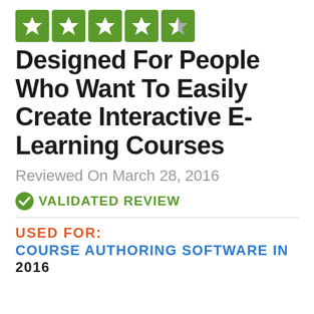[Figure (other): Five green star rating icons in a row]
Designed For People Who Want To Easily Create Interactive E-Learning Courses
Reviewed On March 28, 2016
✓ VALIDATED REVIEW
USED FOR:  COURSE AUTHORING SOFTWARE IN 2016